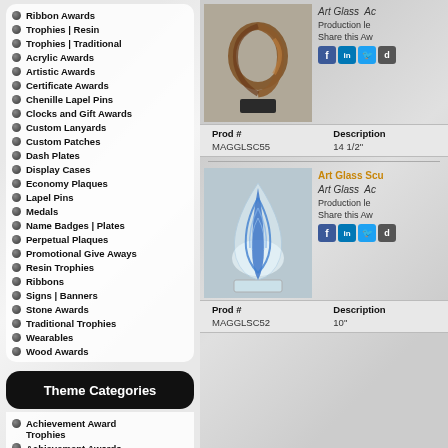Ribbon Awards
Trophies | Resin
Trophies | Traditional
Acrylic Awards
Artistic Awards
Certificate Awards
Chenille Lapel Pins
Clocks and Gift Awards
Custom Lanyards
Custom Patches
Dash Plates
Display Cases
Economy Plaques
Lapel Pins
Medals
Name Badges | Plates
Perpetual Plaques
Promotional Give Aways
Resin Trophies
Ribbons
Signs | Banners
Stone Awards
Traditional Trophies
Wearables
Wood Awards
Theme Categories
Achievement Award Trophies
Achievement Awards
[Figure (photo): Art glass sculpture - brown/amber twisted loop form on dark base]
Art Glass  Ac
Production le
Share this Aw
| Prod # | Description |
| --- | --- |
| MAGGLSC55 | 14 1/2" |
[Figure (photo): Art glass sculpture - blue teardrop form on clear base]
Art Glass Scu
Art Glass  Ac
Production le
Share this Aw
| Prod # | Description |
| --- | --- |
| MAGGLSC52 | 10" |